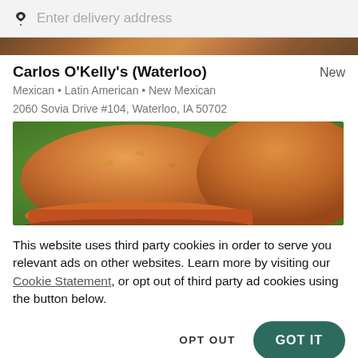Enter delivery address
Carlos O'Kelly's (Waterloo)   New
Mexican • Latin American • New Mexican
2060 Sovia Drive #104, Waterloo, IA 50702
[Figure (photo): Two golden-brown sandwich buns on a green surface, partially open showing filling]
This website uses third party cookies in order to serve you relevant ads on other websites. Learn more by visiting our Cookie Statement, or opt out of third party ad cookies using the button below.
OPT OUT   GOT IT